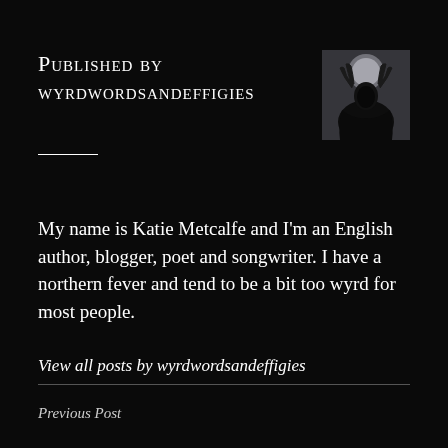Published by wyrdwordsandeffigies
[Figure (photo): Dark atmospheric photo of a figure with antlers silhouetted against a grey sky]
My name is Katie Metcalfe and I'm an English author, blogger, poet and songwriter. I have a northern fever and tend to be a bit too wyrd for most people.
View all posts by wyrdwordsandeffigies
Previous Post